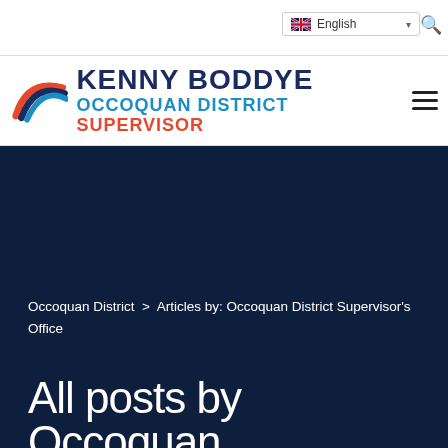[Figure (logo): Kenny Boddye Occoquan District Supervisor logo with arc graphic in red and blue]
Occoquan District > Articles by: Occoquan District Supervisor's Office
All posts by Occoquan